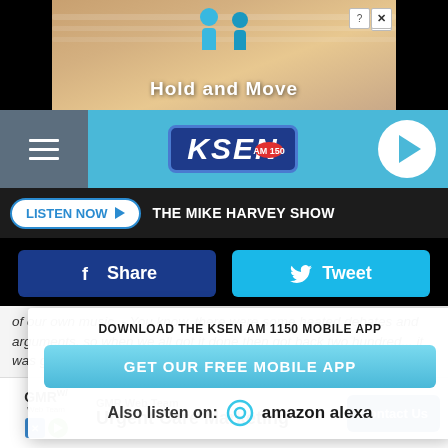[Figure (screenshot): Top advertisement banner with sandy/beach background showing 'Hold and Move' text and two character figures]
[Figure (logo): KSEN AM 150 radio station logo with navigation bar, hamburger menu, and play button]
LISTEN NOW ▶  THE MIKE HARVEY SHOW
[Figure (infographic): Facebook Share button (dark blue) and Twitter Tweet button (light blue)]
of our own music. - You know, there were some heated debates and arguments, so when we all got it done then got back two hundred... it was glorious because... I didn't had to play it for people.
DOWNLOAD THE KSEN AM 1150 MOBILE APP
[Figure (infographic): GET OUR FREE MOBILE APP button and Also listen on: amazon alexa text with Alexa icon]
To add an ingredient, you need to Get the Immunity, then hit Uptown Funk, I can tell you right now.
[Figure (screenshot): GMR Web Team advertisement - Urgent Care Marketing with Contact Us button]